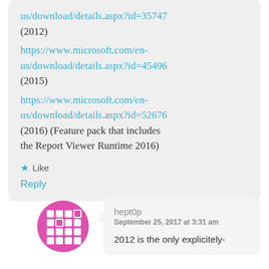us/download/details.aspx?id=35747 (2012) https://www.microsoft.com/en-us/download/details.aspx?id=45496 (2015) https://www.microsoft.com/en-us/download/details.aspx?id=52676 (2016) (Feature pack that includes the Report Viewer Runtime 2016)
Like
Reply
[Figure (illustration): Pink/magenta circular avatar icon with a grid/film reel pattern]
hept0p
September 25, 2017 at 3:31 am
2012 is the only explicitely-